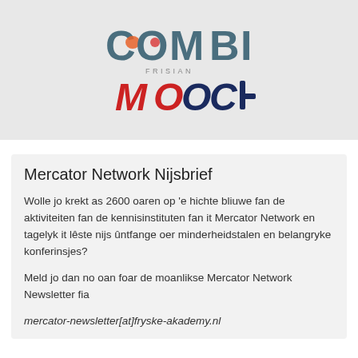[Figure (logo): COMBI Frisian MOOC logo with speech bubble graphics and colorful stylized lettering]
Mercator Network Nijsbrief
Wolle jo krekt as 2600 oaren op 'e hichte bliuwe fan de aktiviteiten fan de kennisinstituten fan it Mercator Network en tagelyk it lêste nijs ûntfange oer minderheidstalen en belangryke konferinsjes?
Meld jo dan no oan foar de moanlikse Mercator Network Newsletter fia mercator-newsletter[at]fryske-akademy.nl